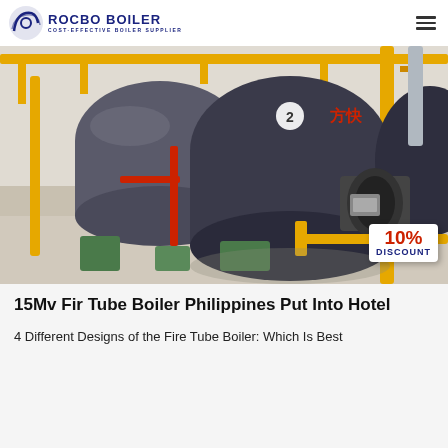ROCBO BOILER — COST-EFFECTIVE BOILER SUPPLIER
[Figure (photo): Industrial fire tube boilers installed in a plant room, with yellow pipes and a 10% discount badge overlay]
15Mv Fir Tube Boiler Philippines Put Into Hotel
4 Different Designs of the Fire Tube Boiler: Which Is Best